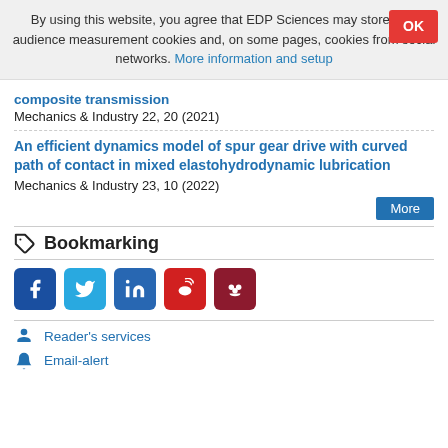By using this website, you agree that EDP Sciences may store web audience measurement cookies and, on some pages, cookies from social networks. More information and setup
composite transmission
Mechanics & Industry 22, 20 (2021)
An efficient dynamics model of spur gear drive with curved path of contact in mixed elastohydrodynamic lubrication
Mechanics & Industry 23, 10 (2022)
Bookmarking
[Figure (infographic): Social media sharing icons: Facebook (blue), Twitter (light blue), LinkedIn (blue), Weibo (red), Mendeley (dark red)]
Reader's services
Email-alert